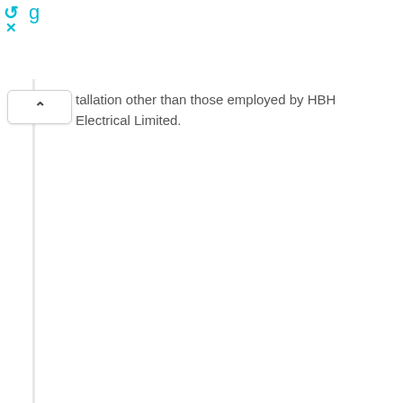stallation other than those employed by HBH Electrical Limited.
stallation other than those employed by HBH Electrical Limited.